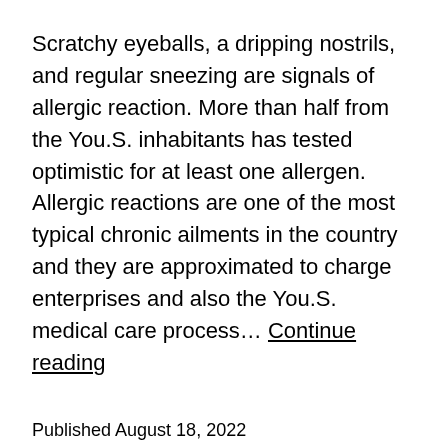Scratchy eyeballs, a dripping nostrils, and regular sneezing are signals of allergic reaction. More than half from the You.S. inhabitants has tested optimistic for at least one allergen. Allergic reactions are one of the most typical chronic ailments in the country and they are approximated to charge enterprises and also the You.S. medical care process… Continue reading
Published August 18, 2022
Categorized as Articles Directory
Tagged Allergist